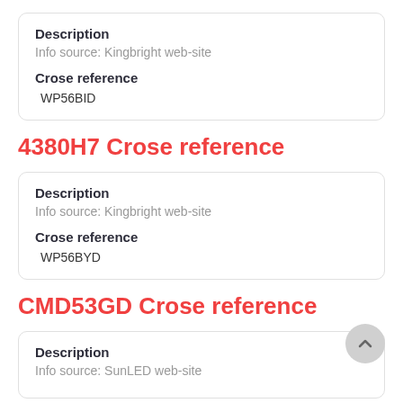Description
Info source: Kingbright web-site
Crose reference
WP56BID
4380H7 Crose reference
Description
Info source: Kingbright web-site
Crose reference
WP56BYD
CMD53GD Crose reference
Description
Info source: SunLED web-site